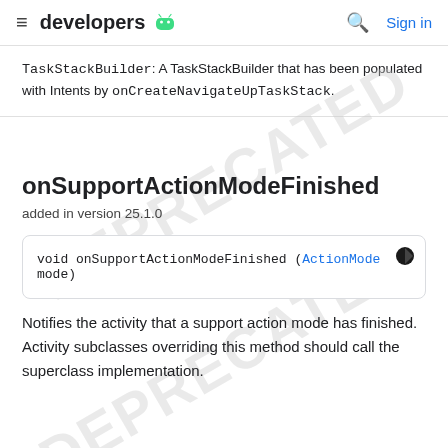≡ developers [android logo] 🔍 Sign in
TaskStackBuilder: A TaskStackBuilder that has been populated with Intents by onCreateNavigateUpTaskStack.
onSupportActionModeFinished
added in version 25.1.0
void onSupportActionModeFinished (ActionMode mode)
Notifies the activity that a support action mode has finished. Activity subclasses overriding this method should call the superclass implementation.